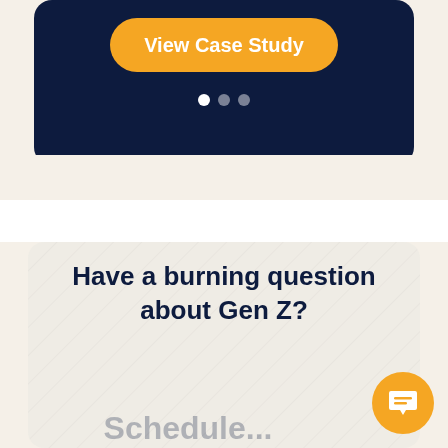[Figure (screenshot): Dark navy card with orange 'View Case Study' button and three navigation dots below]
Have a burning question about Gen Z?
Schedule...